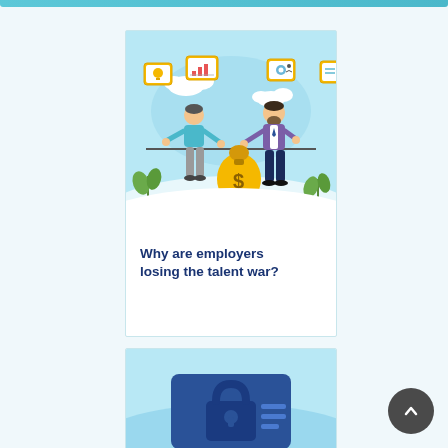[Figure (illustration): Two people in a tug-of-war over a money bag with a dollar sign. One person wears a teal shirt and gray pants, the other wears a purple suit. Framed icons float above showing charts, ideas, and settings. Plants are in the background on a light blue wavy background.]
Why are employers losing the talent war?
[Figure (illustration): Bottom card showing a lock icon on a screen with wavy teal background, partially visible.]